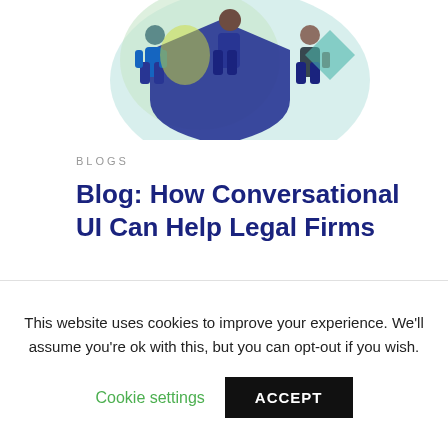[Figure (illustration): Illustration showing three business people holding a large dark shield/document, with geometric teal and green shapes in the background. Top portion of a blog card image.]
BLOGS
Blog: How Conversational UI Can Help Legal Firms
READ MORE →
[Figure (illustration): Partial illustration showing a robotic arm or mechanical device with teal cloud/bubble shapes in the background. Bottom portion of a second blog card.]
This website uses cookies to improve your experience. We'll assume you're ok with this, but you can opt-out if you wish.
Cookie settings   ACCEPT